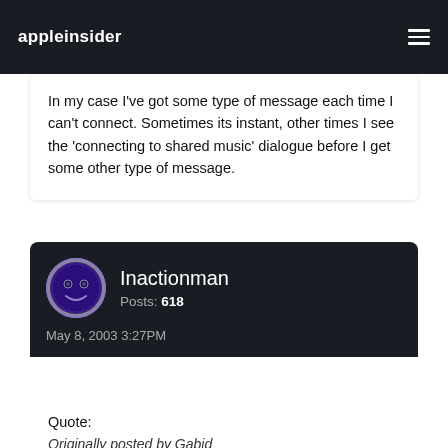appleinsider
In my case I've got some type of message each time I can't connect. Sometimes its instant, other times I see the 'connecting to shared music' dialogue before I get some other type of message.
Inactionman
Posts: 618
May 8, 2003 3:27PM
Quote:
Originally posted by Gabid
In my case I've got some type of message each time I can't connect. Sometimes its instant, other times I see the 'connecting to shared music' dialogue before I get some other type of message.